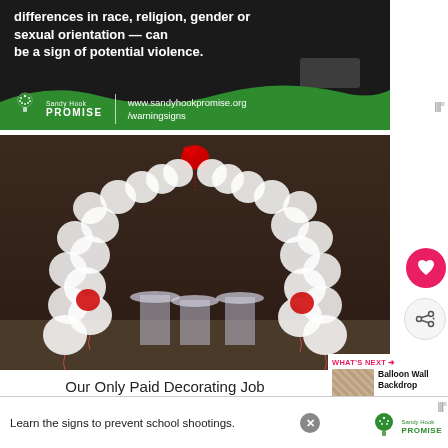[Figure (photo): Sandy Hook Promise advertisement with dark background showing white text about differences in race, religion, gender or sexual orientation being a sign of potential violence, with green wave design and logo at bottom showing www.sandyhookpromise.org/warningsigns]
[Figure (photo): Indoor event venue with an arch made of white and red balloons with a red heart balloon at the top, and cocktail tables draped in white in the background]
Our Only Paid Decorating Job
Despite our efforts we only got a real decorating
[Figure (photo): Bottom advertisement banner: Learn the signs to prevent school shootings - Sandy Hook Promise logo]